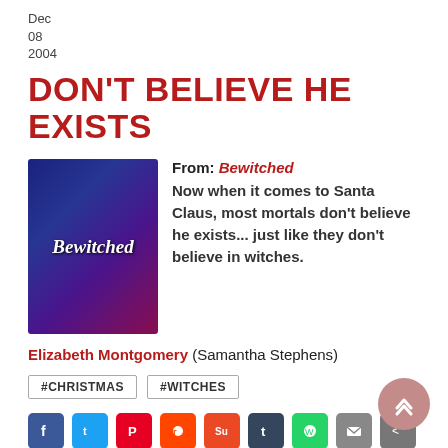Dec
08
2004
DON'T BELIEVE HE EXISTS
[Figure (photo): Movie poster for Bewitched]
From: Bewitched
Now when it comes to Santa Claus, most mortals don't believe he exists... just like they don't believe in witches.
Elizabeth Montgomery (Samantha Stephens)
#CHRISTMAS
#WITCHES
[Figure (infographic): Social media share icons: Facebook, Twitter, Pinterest, Reddit, StumbleUpon, Tumblr, WhatsApp, Email, Share]
Oct
26
2004
DRINK BEFORE DINNER